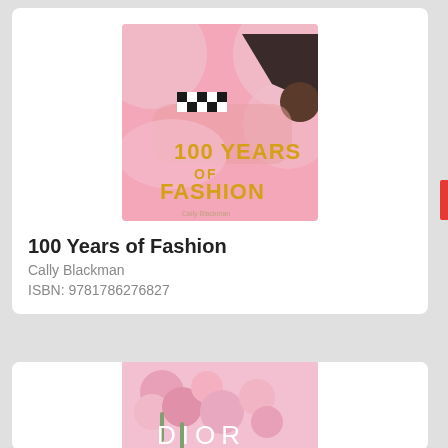[Figure (photo): Book cover of '100 Years of Fashion' by Cally Blackman. Pink background with large geometric circles, a woman in checkered swimwear reclining, and bold gold text '100 YEARS OF FASHION'.]
100 Years of Fashion
Cally Blackman
ISBN: 9781786276827
[Figure (photo): Partial book cover showing pink flowers and the text 'DIOR' — a Dior fashion book.]